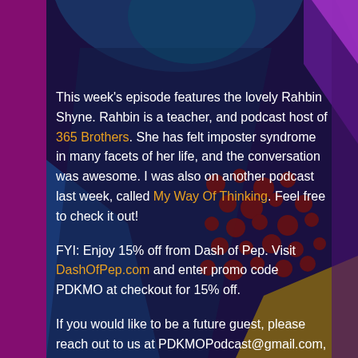[Figure (illustration): Colorful abstract background with geometric shapes in purple, blue, magenta, teal, and dark navy. Polka dot pattern visible in center-right area. Abstract triangles and curves form the background design.]
This week's episode features the lovely Rahbin Shyne. Rahbin is a teacher, and podcast host of 365 Brothers. She has felt imposter syndrome in many facets of her life, and the conversation was awesome. I was also on another podcast last week, called My Way Of Thinking. Feel free to check it out!
FYI: Enjoy 15% off from Dash of Pep. Visit DashOfPep.com and enter promo code PDKMO at checkout for 15% off.
If you would like to be a future guest, please reach out to us at PDKMOPodcast@gmail.com, or via social